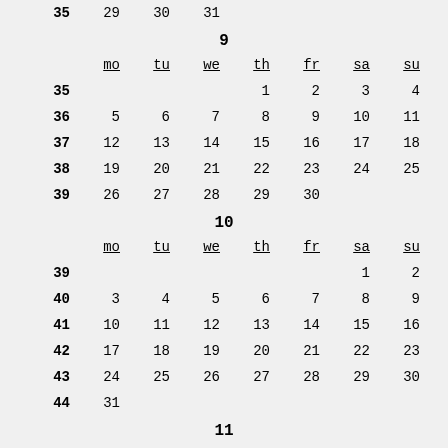|  | mo | tu | we | th | fr | sa | su |
| --- | --- | --- | --- | --- | --- | --- | --- |
| 33 | 15 | 16 | 17 | 18 | 19 | 20 | 21 |
| 34 | 22 | 23 | 24 | 25 | 26 | 27 | 28 |
| 35 | 29 | 30 | 31 |  |  |  |  |
9
|  | mo | tu | we | th | fr | sa | su |
| --- | --- | --- | --- | --- | --- | --- | --- |
| 35 |  |  |  | 1 | 2 | 3 | 4 |
| 36 | 5 | 6 | 7 | 8 | 9 | 10 | 11 |
| 37 | 12 | 13 | 14 | 15 | 16 | 17 | 18 |
| 38 | 19 | 20 | 21 | 22 | 23 | 24 | 25 |
| 39 | 26 | 27 | 28 | 29 | 30 |  |  |
10
|  | mo | tu | we | th | fr | sa | su |
| --- | --- | --- | --- | --- | --- | --- | --- |
| 39 |  |  |  |  |  | 1 | 2 |
| 40 | 3 | 4 | 5 | 6 | 7 | 8 | 9 |
| 41 | 10 | 11 | 12 | 13 | 14 | 15 | 16 |
| 42 | 17 | 18 | 19 | 20 | 21 | 22 | 23 |
| 43 | 24 | 25 | 26 | 27 | 28 | 29 | 30 |
| 44 | 31 |  |  |  |  |  |  |
11
|  | mo | tu | we | th | fr | sa | su |
| --- | --- | --- | --- | --- | --- | --- | --- |
| 44 | 1 | 2 | 3 | 4 | 5 | 6 |